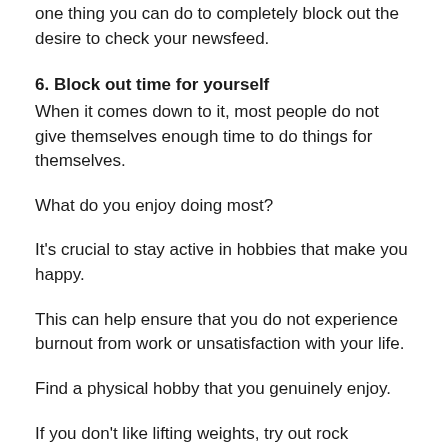one thing you can do to completely block out the desire to check your newsfeed.
6. Block out time for yourself
When it comes down to it, most people do not give themselves enough time to do things for themselves.
What do you enjoy doing most?
It's crucial to stay active in hobbies that make you happy.
This can help ensure that you do not experience burnout from work or unsatisfaction with your life.
Find a physical hobby that you genuinely enjoy.
If you don't like lifting weights, try out rock climbing, hiking, or volunteer at a shelter and walk dogs.
The time you block out for yourself needs to be used by doing